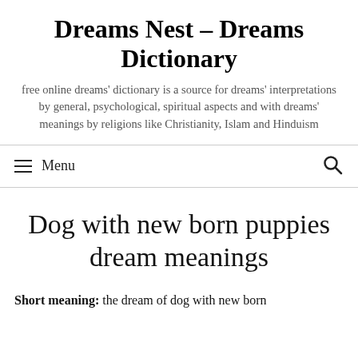Dreams Nest – Dreams Dictionary
free online dreams' dictionary is a source for dreams' interpretations by general, psychological, spiritual aspects and with dreams' meanings by religions like Christianity, Islam and Hinduism
≡ Menu 🔍
Dog with new born puppies dream meanings
Short meaning: the dream of dog with new born